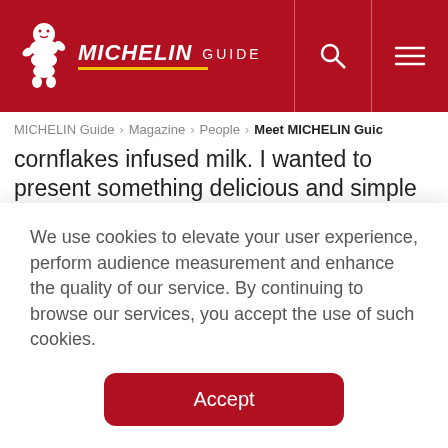MICHELIN GUIDE
MICHELIN Guide > Magazine > People > Meet MICHELIN Guid…
cornflakes infused milk. I wanted to present something delicious and simple to create the flavours that everyone is familiar with in a new and exciting way."
"Don't ever let anyone tell you that you can't do
We use cookies to elevate your user experience, perform audience measurement and enhance the quality of our service. By continuing to browse our services, you accept the use of such cookies.
Accept